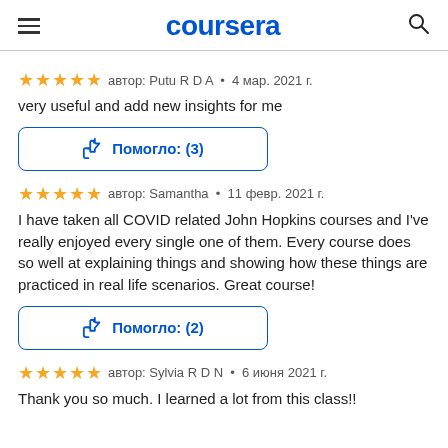coursera
автор: Putu R D A · 4 мар. 2021 г.
very useful and add new insights for me
[Figure (other): Thumbs up helpful button with label Помогло: (3)]
автор: Samantha · 11 февр. 2021 г.
I have taken all COVID related John Hopkins courses and I've really enjoyed every single one of them. Every course does so well at explaining things and showing how these things are practiced in real life scenarios. Great course!
[Figure (other): Thumbs up helpful button with label Помогло: (2)]
автор: Sylvia R D N · 6 июня 2021 г.
Thank you so much. I learned a lot from this class!!